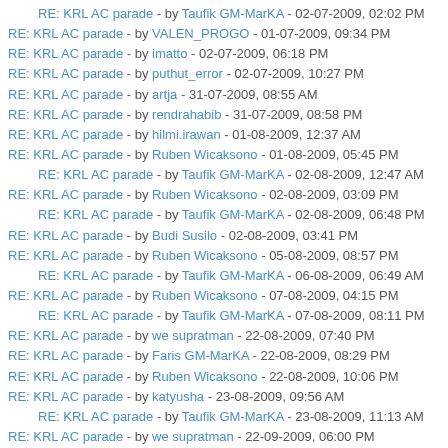RE: KRL AC parade - by Taufik GM-MarKA - 02-07-2009, 02:02 PM
RE: KRL AC parade - by VALEN_PROGO - 01-07-2009, 09:34 PM
RE: KRL AC parade - by imatto - 02-07-2009, 06:18 PM
RE: KRL AC parade - by puthut_error - 02-07-2009, 10:27 PM
RE: KRL AC parade - by artja - 31-07-2009, 08:55 AM
RE: KRL AC parade - by rendrahabib - 31-07-2009, 08:58 PM
RE: KRL AC parade - by hilmi.irawan - 01-08-2009, 12:37 AM
RE: KRL AC parade - by Ruben Wicaksono - 01-08-2009, 05:45 PM
RE: KRL AC parade - by Taufik GM-MarKA - 02-08-2009, 12:47 AM
RE: KRL AC parade - by Ruben Wicaksono - 02-08-2009, 03:09 PM
RE: KRL AC parade - by Taufik GM-MarKA - 02-08-2009, 06:48 PM
RE: KRL AC parade - by Budi Susilo - 02-08-2009, 03:41 PM
RE: KRL AC parade - by Ruben Wicaksono - 05-08-2009, 08:57 PM
RE: KRL AC parade - by Taufik GM-MarKA - 06-08-2009, 06:49 AM
RE: KRL AC parade - by Ruben Wicaksono - 07-08-2009, 04:15 PM
RE: KRL AC parade - by Taufik GM-MarKA - 07-08-2009, 08:11 PM
RE: KRL AC parade - by we supratman - 22-08-2009, 07:40 PM
RE: KRL AC parade - by Faris GM-MarKA - 22-08-2009, 08:29 PM
RE: KRL AC parade - by Ruben Wicaksono - 22-08-2009, 10:06 PM
RE: KRL AC parade - by katyusha - 23-08-2009, 09:56 AM
RE: KRL AC parade - by Taufik GM-MarKA - 23-08-2009, 11:13 AM
RE: KRL AC parade - by we supratman - 22-09-2009, 06:00 PM
RE: KRL AC parade - by Agus Riyanto - 28-09-2009, 11:59 AM
RE: KRL AC parade - by Ruben Wicaksono - 30-09-2009, 04:08 PM
RE: KRL AC parade - by katyusha - 30-09-2009, 05:21 PM